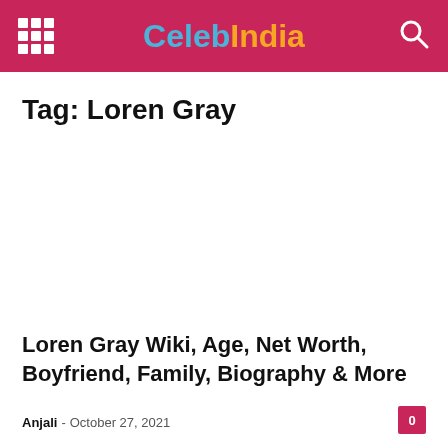CelebIndia
Tag: Loren Gray
Loren Gray Wiki, Age, Net Worth, Boyfriend, Family, Biography & More
Anjali - October 27, 2021